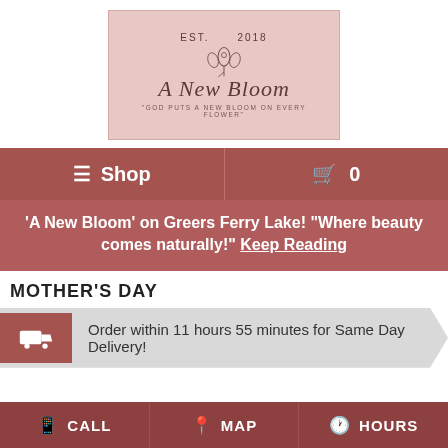[Figure (logo): A New Bloom floral shop logo on pink background. EST. 2018 with flower illustration. Script text 'A New Bloom'. Tagline: GOD PUTS A NEW BLOOM ON EVERY FLOWER]
≡ Shop   🛒 0
'A New Bloom' on Greers Ferry Lake! "Where beauty comes naturally!" Keep Reading
MOTHER'S DAY
Order within 11 hours 55 minutes for Same Day Delivery!
CALL   MAP   HOURS